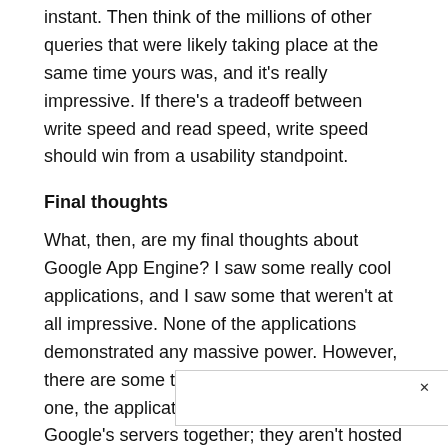instant. Then think of the millions of other queries that were likely taking place at the same time yours was, and it's really impressive. If there's a tradeoff between write speed and read speed, write speed should win from a usability standpoint.
Final thoughts
What, then, are my final thoughts about Google App Engine? I saw some really cool applications, and I saw some that weren't at all impressive. None of the applications demonstrated any massive power. However, there are some things to consider here. For one, the applications are all running on Google's servers together; they aren't hosted individually. That means while many of them might not have a lot of activity at any given instant, all the applications combine[...] ...they all seemed[...]